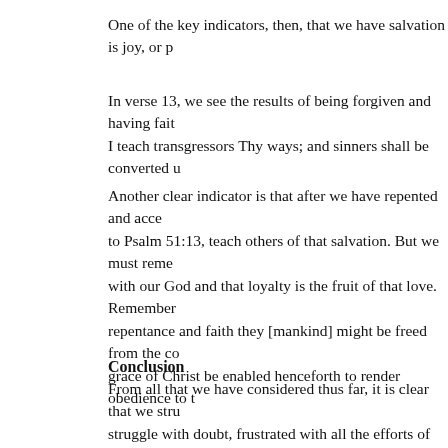One of the key indicators, then, that we have salvation is joy, or p
In verse 13, we see the results of being forgiven and having fait I teach transgressors Thy ways; and sinners shall be converted u
Another clear indicator is that after we have repented and acce to Psalm 51:13, teach others of that salvation. But we must reme with our God and that loyalty is the fruit of that love. Remember repentance and faith they [mankind] might be freed from the co grace of Christ be enabled henceforth to render obedience to t
Conclusion
From all that we have considered thus far, it is clear that we stru struggle with doubt, frustrated with all the efforts of keeping th be. Salvation under such conditions is not a joy, and if we are no doubting our message—doubting the very church that God has s world.
Under this dark cloud of doubt, we may even come to the place Bible: Are they really inspired? Next might come a move to Sun